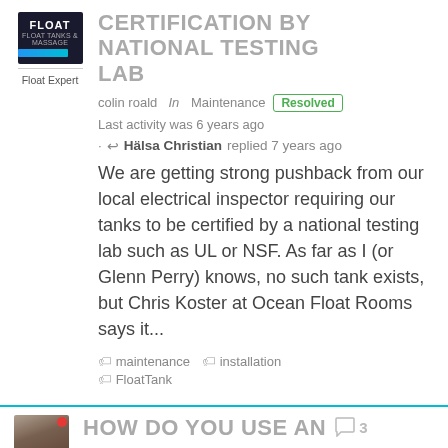[Figure (logo): Float Tanks & Massage logo image, dark blue background with FLOAT text]
Float Expert
CERTIFICATION BY NATIONAL TESTING LAB
colin roald In Maintenance Resolved
Last activity was 6 years ago
↩ Hälsa Christian replied 7 years ago
We are getting strong pushback from our local electrical inspector requiring our tanks to be certified by a national testing lab such as UL or NSF. As far as I (or Glenn Perry) knows, no such tank exists, but Chris Koster at Ocean Float Rooms says it...
maintenance
installation
FloatTank
HOW DO YOU USE AN 💬3